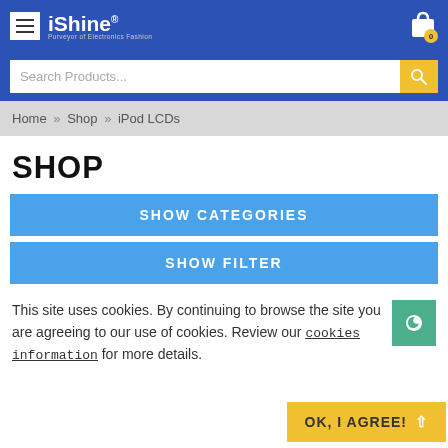iShine® Purveyor of Electronics Fashion
Search Products...
Home » Shop » iPod LCDs
SHOP
SHOW CATEGORIES
SHOW FILTER
This site uses cookies. By continuing to browse the site you are agreeing to our use of cookies. Review our cookies information for more details.
OK, I AGREE!